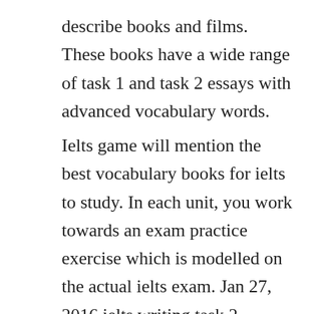describe books and films. These books have a wide range of task 1 and task 2 essays with advanced vocabulary words.
Ielts game will mention the best vocabulary books for ielts to study. In each unit, you work towards an exam practice exercise which is modelled on the actual ielts exam. Jan 27, 2016 ielts writing task 2 vocabulary and organisation an overview of ielts writing task 2. It can be used to answer various questions about music on ielts speaking test and will help you achieve a high ielts score. Sep 28,